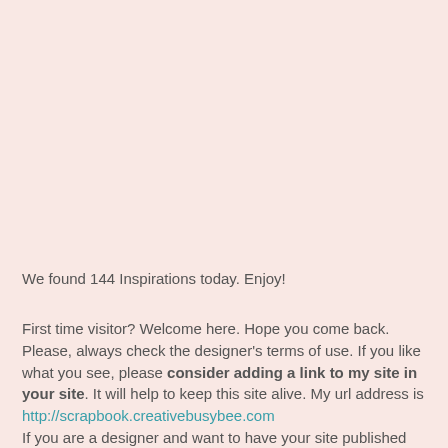We found 144 Inspirations today. Enjoy!
First time visitor? Welcome here. Hope you come back. Please, always check the designer's terms of use. If you like what you see, please consider adding a link to my site in your site. It will help to keep this site alive. My url address is http://scrapbook.creativebusybee.com If you are a designer and want to have your site published here, either fill the form or send me a comment. Please